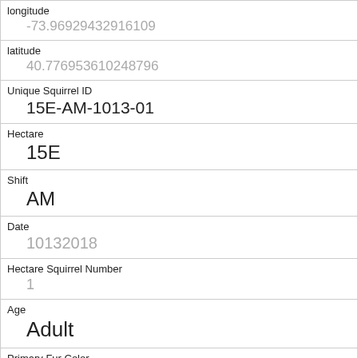| Field | Value |
| --- | --- |
| longitude | -73.96929432916109 |
| latitude | 40.776953610248796 |
| Unique Squirrel ID | 15E-AM-1013-01 |
| Hectare | 15E |
| Shift | AM |
| Date | 10132018 |
| Hectare Squirrel Number | 1 |
| Age | Adult |
| Primary Fur Color | Gray |
| Highlight Fur Color | White |